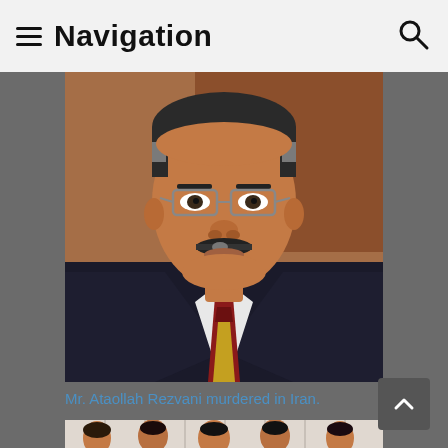Navigation
[Figure (photo): Portrait photo of Mr. Ataollah Rezvani, a middle-aged man wearing glasses, a dark suit, and a red-brown and gold striped tie.]
Mr. Ataollah Rezvani murdered in Iran.
[Figure (photo): Group photo of several people (men and women) standing in front of a white curtain background.]